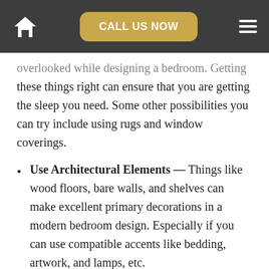CALL US NOW
overlooked while designing a bedroom. Getting these things right can ensure that you are getting the sleep you need. Some other possibilities you can try include using rugs and window coverings.
Use Architectural Elements — Things like wood floors, bare walls, and shelves can make excellent primary decorations in a modern bedroom design. Especially if you can use compatible accents like bedding, artwork, and lamps, etc.
Go Natural — Natural wood and light make for